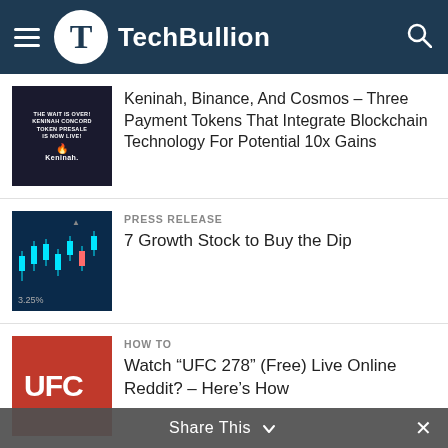TechBullion
[Figure (screenshot): Keninah Concord Token Presale article thumbnail — dark background with red flame logo and white text 'THE WAIT IS OVER! KENINAH CONCORD TOKEN PRESALE IS NOW LIVE! Keninah.']
Keninah, Binance, And Cosmos – Three Payment Tokens That Integrate Blockchain Technology For Potential 10x Gains
[Figure (screenshot): Stock market chart thumbnail — dark blue background with green candlestick chart and text '3.25%']
PRESS RELEASE
7 Growth Stock to Buy the Dip
[Figure (photo): UFC logo on red background]
HOW TO
Watch “UFC 278” (Free) Live Online Reddit? – Here’s How
[Figure (screenshot): Value4Brand article thumbnail with light blue background, people graphic and text 'Journey Shared by the Value4Brand Owners']
BUSINESS NEWS
Journey Shared By The Value4Brand Owners
Share This